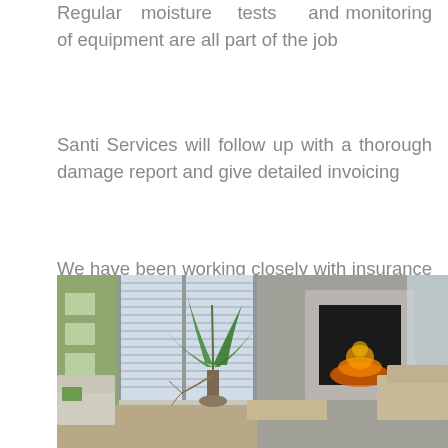Regular moisture tests and monitoring of equipment are all part of the job
Santi Services will follow up with a thorough damage report and give detailed invoicing
We have been working closely with insurance companies for years and can make a potentially painful process easy by completing the paperwork loop.
[Figure (photo): Interior living room photo showing a modern room with a fireplace, indoor plant, sofa, and large windows with blinds. Green accent wall visible on the left.]